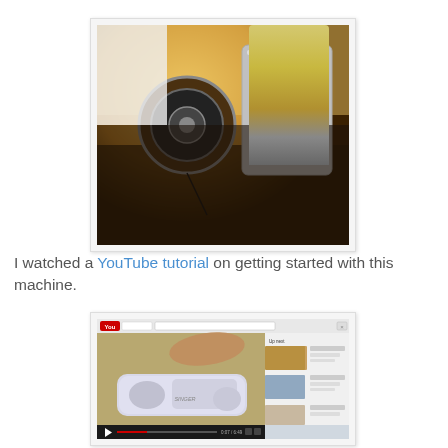[Figure (photo): Close-up photo of a sewing machine bobbin area with thread, showing the presser foot and needle plate under warm lighting]
I watched a YouTube tutorial on getting started with this machine.
[Figure (screenshot): Screenshot of a YouTube tutorial video showing a Singer sewing machine, with sidebar showing related video thumbnails]